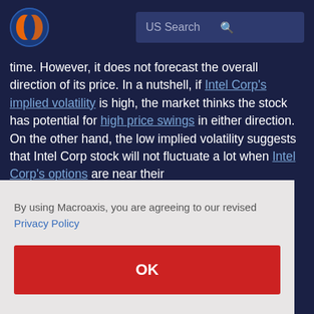US Search
time. However, it does not forecast the overall direction of its price. In a nutshell, if Intel Corp's implied volatility is high, the market thinks the stock has potential for high price swings in either direction. On the other hand, the low implied volatility suggests that Intel Corp stock will not fluctuate a lot when Intel Corp's options are near their
By using Macroaxis, you are agreeing to our revised Privacy Policy
OK